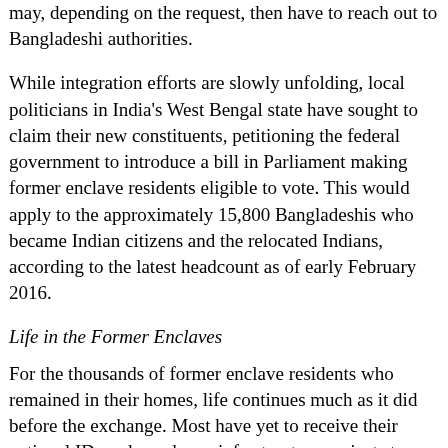may, depending on the request, then have to reach out to Bangladeshi authorities.
While integration efforts are slowly unfolding, local politicians in India's West Bengal state have sought to claim their new constituents, petitioning the federal government to introduce a bill in Parliament making former enclave residents eligible to vote. This would apply to the approximately 15,800 Bangladeshis who became Indian citizens and the relocated Indians, according to the latest headcount as of early February 2016.
Life in the Former Enclaves
For the thousands of former enclave residents who remained in their homes, life continues much as it did before the exchange. Most have yet to receive their national ID cards, and new infrastructure projects to install electricity and build new roads, hospitals, and schools have been slow to show progress.
In December, the Indian Cabinet approved a three- to five-